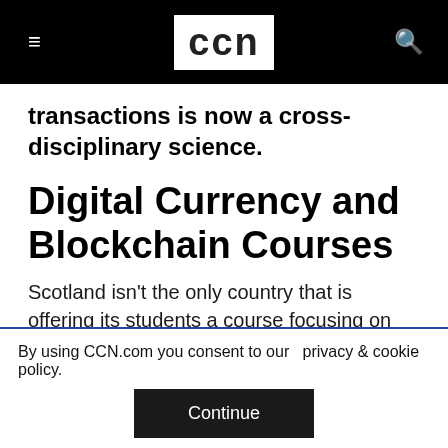CCN
transactions is now a cross-disciplinary science.
Digital Currency and Blockchain Courses
Scotland isn't the only country that is offering its students a course focusing on the new technology.
Other universities around the world are realizing
By using CCN.com you consent to our privacy & cookie policy.